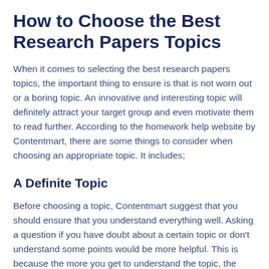How to Choose the Best Research Papers Topics
When it comes to selecting the best research papers topics, the important thing to ensure is that is not worn out or a boring topic. An innovative and interesting topic will definitely attract your target group and even motivate them to read further. According to the homework help website by Contentmart, there are some things to consider when choosing an appropriate topic. It includes;
A Definite Topic
Before choosing a topic, Contentmart suggest that you should ensure that you understand everything well. Asking a question if you have doubt about a certain topic or don't understand some points would be more helpful. This is because the more you get to understand the topic, the easier it becomes for you to write the best research papers. You also need to show your readers that you clearly understand the